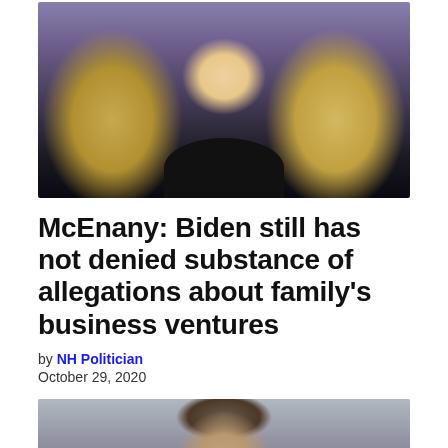[Figure (photo): Photo of a blonde woman in a black top, appearing to be at a press briefing podium, purple/blue background]
McEnany: Biden still has not denied substance of allegations about family's business ventures
by NH Politician
October 29, 2020
[Figure (photo): Photo of a man with short dark hair looking slightly to the side, blurred background]